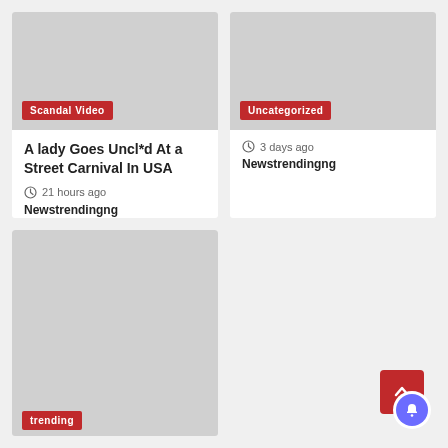[Figure (photo): Gray placeholder image with Scandal Video badge]
Scandal Video
A lady Goes Uncl*d At a Street Carnival In USA
21 hours ago
Newstrendingng
[Figure (photo): Gray placeholder image with Uncategorized badge]
Uncategorized
3 days ago
Newstrendingng
[Figure (photo): Gray placeholder image with trending badge]
trending